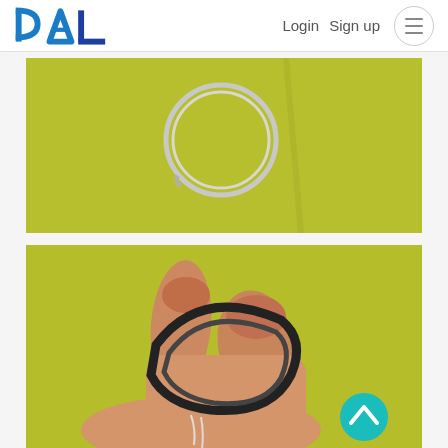PAL | Login  Sign up
[Figure (photo): A metal wire ring (split ring / key ring) lying flat on a yellow-green background, viewed from above.]
[Figure (photo): A hand holding and bending a metal split ring between thumb and fingers against a yellow-green background, showing the wire loop being opened.]